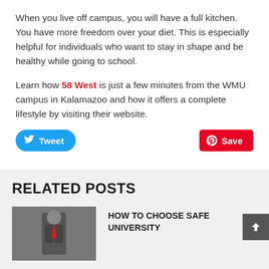When you live off campus, you will have a full kitchen. You have more freedom over your diet. This is especially helpful for individuals who want to stay in shape and be healthy while going to school.
Learn how 58 West is just a few minutes from the WMU campus in Kalamazoo and how it offers a complete lifestyle by visiting their website.
[Figure (screenshot): Tweet button (blue, rounded) and Save button (red, rounded rectangle) social sharing buttons]
RELATED POSTS
[Figure (photo): Person in suit thumbnail image for related post]
HOW TO CHOOSE SAFE UNIVERSITY